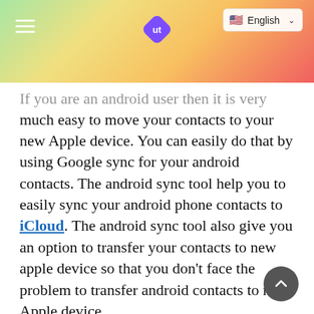English (language selector) | ut logo | hamburger menu
If you are an android user then it is very much easy to move your contacts to your new Apple device. You can easily do that by using Google sync for your android contacts. The android sync tool help you to easily sync your android phone contacts to iCloud. The android sync tool also give you an option to transfer your contacts to new apple device so that you don't face the problem to transfer android contacts to new Apple device.
Here's what you need to know about how you can move your contacts from Android to